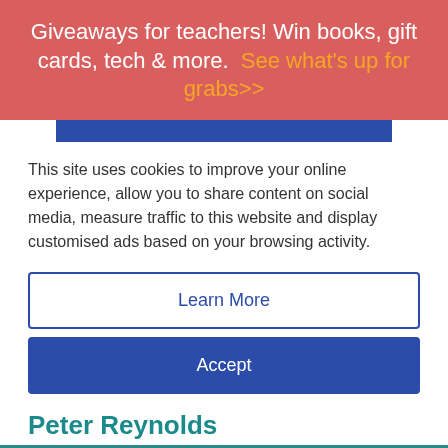Giveaways for teachers! Win books, gift cards, tech & more. See what's up for grabs>>
This site uses cookies to improve your online experience, allow you to share content on social media, measure traffic to this website and display customised ads based on your browsing activity.
Learn More
Accept
Peter Reynolds
< See More Learning at Home Resources
[Figure (screenshot): Disney Bundle advertisement bar with Hulu, Disney+, ESPN+ logos and 'GET THE DISNEY BUNDLE' call to action button]